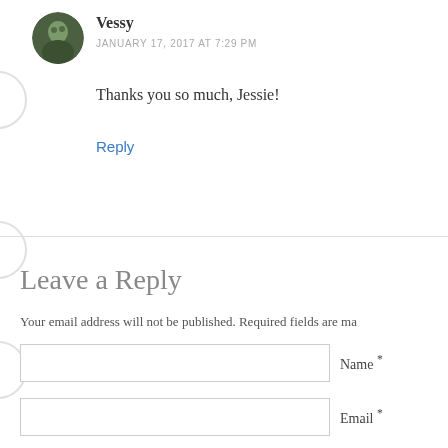[Figure (photo): Circular avatar photo of commenter Vessy, showing a person outdoors with dark background]
Vessy
JANUARY 17, 2017 AT 7:29 PM
Thanks you so much, Jessie!
Reply
Leave a Reply
Your email address will not be published. Required fields are ma
Name *
Email *